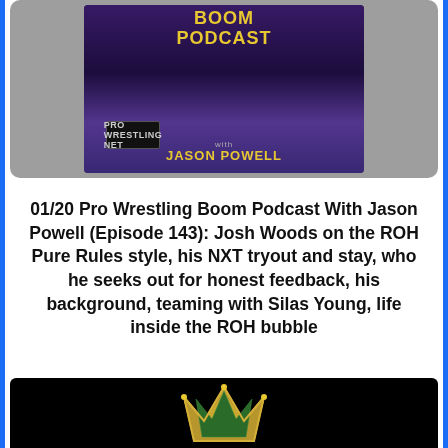[Figure (photo): Pro Wrestling Boom Podcast logo/thumbnail with Jason Powell branding on a purple background with crowd]
01/20 Pro Wrestling Boom Podcast With Jason Powell (Episode 143): Josh Woods on the ROH Pure Rules style, his NXT tryout and stay, who he seeks out for honest feedback, his background, teaming with Silas Young, life inside the ROH bubble
[Figure (photo): WWE King of the Ring crown trophy on a black background]